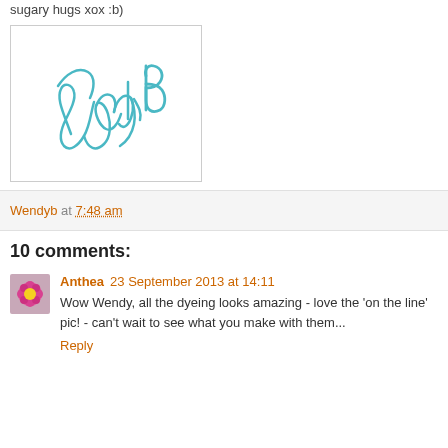sugary hugs xox :b)
[Figure (illustration): Handwritten cursive signature reading 'Wendy B' in teal/turquoise ink on a white background, inside a light gray bordered box.]
Wendyb at 7:48 am
10 comments:
Anthea 23 September 2013 at 14:11
Wow Wendy, all the dyeing looks amazing - love the 'on the line' pic! - can't wait to see what you make with them...
Reply